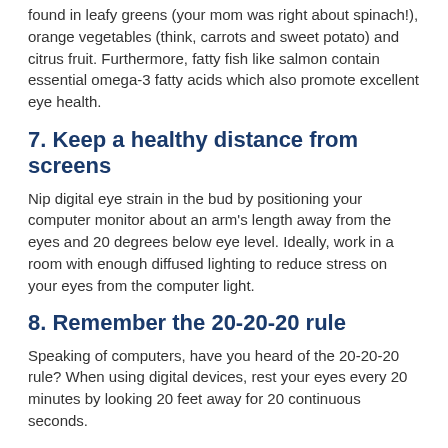found in leafy greens (your mom was right about spinach!), orange vegetables (think, carrots and sweet potato) and citrus fruit. Furthermore, fatty fish like salmon contain essential omega-3 fatty acids which also promote excellent eye health.
7. Keep a healthy distance from screens
Nip digital eye strain in the bud by positioning your computer monitor about an arm's length away from the eyes and 20 degrees below eye level. Ideally, work in a room with enough diffused lighting to reduce stress on your eyes from the computer light.
8. Remember the 20-20-20 rule
Speaking of computers, have you heard of the 20-20-20 rule? When using digital devices, rest your eyes every 20 minutes by looking 20 feet away for 20 continuous seconds.
Once you're at it, blink 20 times in succession to prevent dry eyes, and make it a habit to rise from your seat and take 20 steps to promote good posture and blood circulation, which